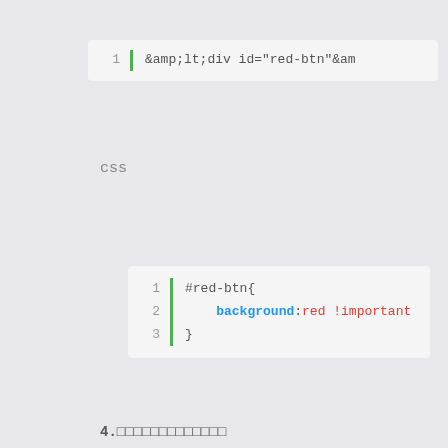[Figure (screenshot): Code block line 1: &amp;amp;lt;div id="red-btn"&am]
css
[Figure (screenshot): CSS code block with 3 lines: #red-btn{ background:red !important }]
4.□□□□□□□□□□□□□
□□□
html